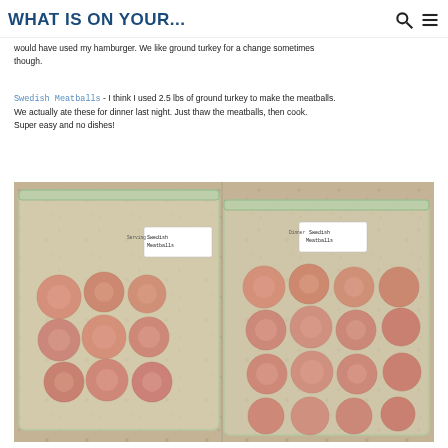WHAT IS ON YOUR...
would have used my hamburger.  We like ground turkey for a change sometimes though.
Swedish Meatballs - I think I used 2.5 lbs of ground turkey to make the meatballs. We actually ate these for dinner last night.  Just thaw the meatballs, then cook. Super easy and no dishes!
[Figure (photo): Two zip-lock bags filled with uncooked Swedish meatballs made from ground turkey, labeled 'Swedish Meatballs', placed on a granite countertop.]